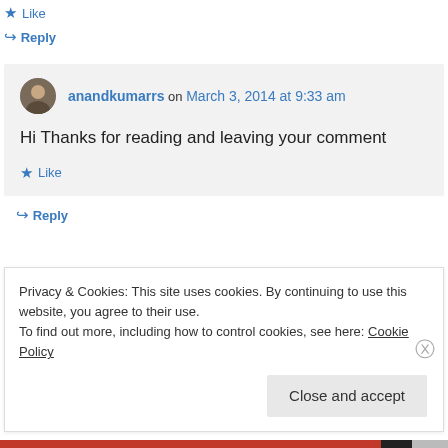★ Like
↪ Reply
anandkumarrs on March 3, 2014 at 9:33 am
Hi Thanks for reading and leaving your comment
★ Like
↪ Reply
Privacy & Cookies: This site uses cookies. By continuing to use this website, you agree to their use.
To find out more, including how to control cookies, see here: Cookie Policy
Close and accept